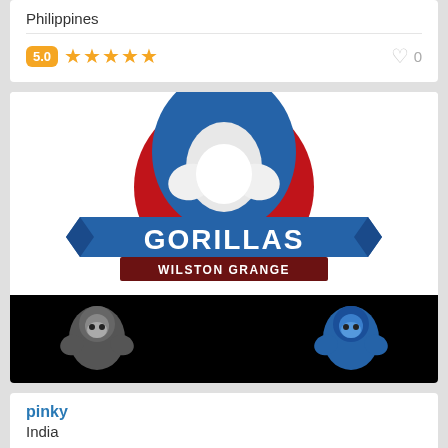Philippines
5.0 ★★★★★  ♥ 0
[Figure (logo): Gorillas Wilston Grange sports team logo: a muscular gorilla with blue cape in front of a red circle, with a blue ribbon banner reading GORILLAS and a dark red banner reading WILSTON GRANGE]
[Figure (illustration): Black banner showing two gorilla mascots side by side: a gray/white gorilla on the left and a blue gorilla on the right, both in fighting poses]
pinky
India
5.0 ★★★★★  ♥ 0